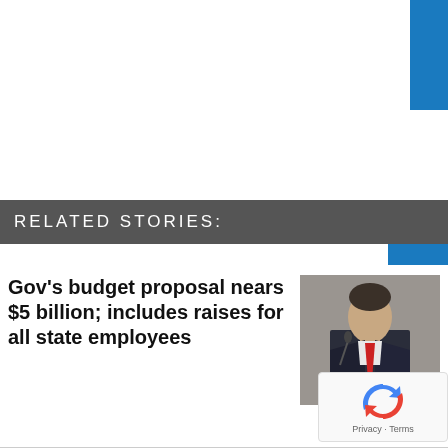RELATED STORIES:
Gov's budget proposal nears $5 billion; includes raises for all state employees
[Figure (photo): Man in dark suit with red tie speaking at a podium/lectern]
[Figure (logo): reCAPTCHA logo with Privacy and Terms text]